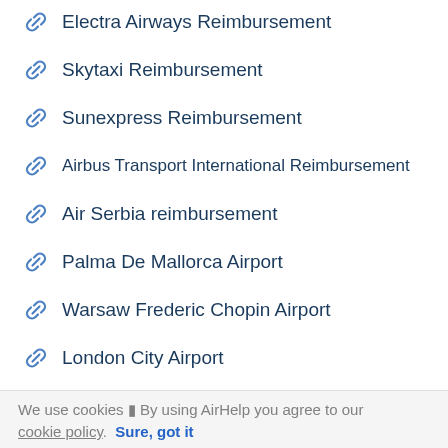Electra Airways Reimbursement
Skytaxi Reimbursement
Sunexpress Reimbursement
Airbus Transport International Reimbursement
Air Serbia reimbursement
Palma De Mallorca Airport
Warsaw Frederic Chopin Airport
London City Airport
Zurich Airport
Copenhagen Kastrup Airport
We use cookies ▮ By using AirHelp you agree to our cookie policy. Sure, got it